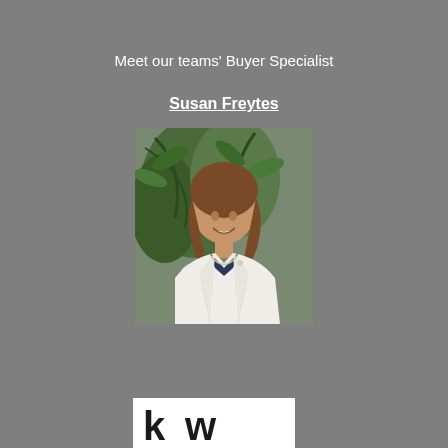Meet our teams' Buyer Specialist
Susan Freytes
[Figure (photo): Professional headshot of Susan Freytes, a woman with brown shoulder-length hair wearing a white blazer over a dark top, seated in front of tropical plants]
[Figure (logo): Keller Williams (kw) real estate logo in black and white]